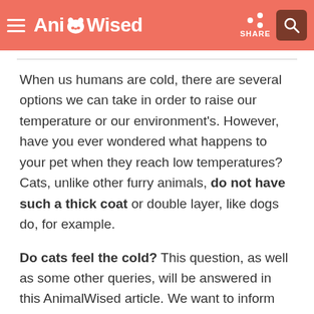AnimalWised — SHARE
When us humans are cold, there are several options we can take in order to raise our temperature or our environment's. However, have you ever wondered what happens to your pet when they reach low temperatures? Cats, unlike other furry animals, do not have such a thick coat or double layer, like dogs do, for example.
Do cats feel the cold? This question, as well as some other queries, will be answered in this AnimalWised article. We want to inform you on how to make your cat feel warmer and at ease when the cold weather begins and temperatures drop.
You may also be interested in: Step by Step Guide to Preparing a Cold Water Aquarium